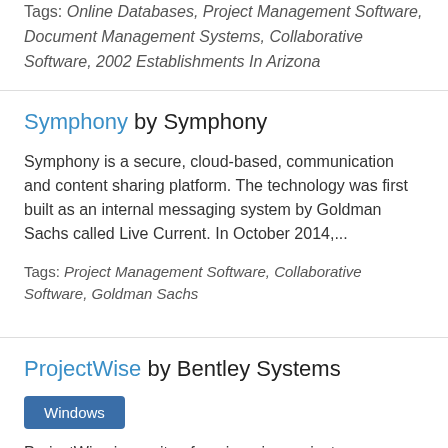Tags: Online Databases, Project Management Software, Document Management Systems, Collaborative Software, 2002 Establishments In Arizona
Symphony by Symphony
Symphony is a secure, cloud-based, communication and content sharing platform. The technology was first built as an internal messaging system by Goldman Sachs called Live Current. In October 2014,...
Tags: Project Management Software, Collaborative Software, Goldman Sachs
ProjectWise by Bentley Systems
Windows
ProjectWise is a suite of engineering project collaboration software from Bentley Systems, designed for the architecture...